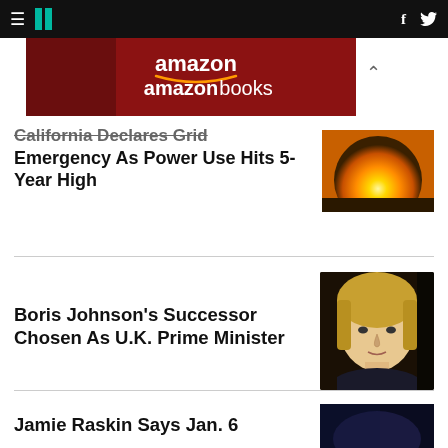HuffPost navigation
[Figure (photo): Amazon Books advertisement banner with person on red background]
California Declares Grid Emergency As Power Use Hits 5-Year High
[Figure (photo): Bright orange sun low in the sky, heat wave image]
Boris Johnson's Successor Chosen As U.K. Prime Minister
[Figure (photo): Blonde woman in dark clothing, portrait photo]
Jamie Raskin Says Jan. 6